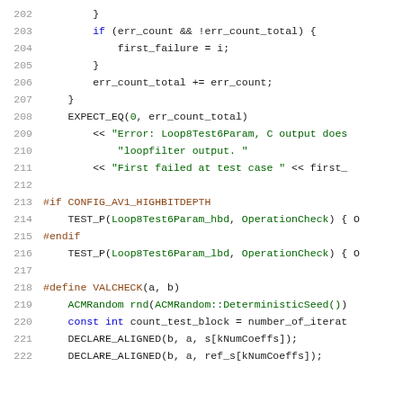Source code listing, lines 202-222, showing C/C++ code for loop filter test functions including error counting logic, preprocessor conditionals, and macro definitions.